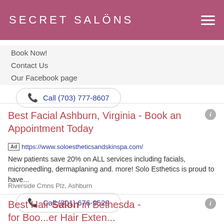SECRET SALONS
Book Now!
Contact Us
Our Facebook page
Call (703) 777-8607
Best Facial Ashburn, Virginia - Book an Appointment Today
Ad https://www.soloestheticsandskinspa.com/
New patients save 20% on ALL services including facials, microneedling, dermaplaning and. more! Solo Esthetics is proud to have...
Riverside Cmns Plz, Ashburn
Call (301) 676-9529
Best Hair Salon in Bethesda - for Boo...er Hair Exten...